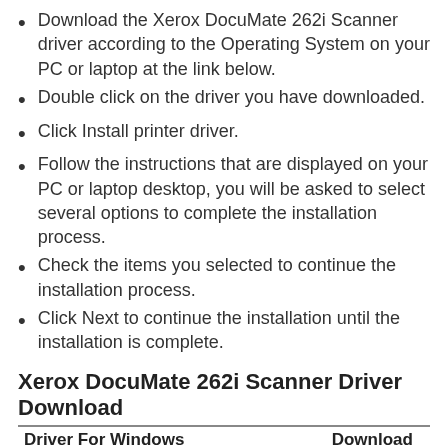Download the Xerox DocuMate 262i Scanner driver according to the Operating System on your PC or laptop at the link below.
Double click on the driver you have downloaded.
Click Install printer driver.
Follow the instructions that are displayed on your PC or laptop desktop, you will be asked to select several options to complete the installation process.
Check the items you selected to continue the installation process.
Click Next to continue the installation until the installation is complete.
Xerox DocuMate 262i Scanner Driver Download
| Driver For Windows | Download |
| --- | --- |
| Xerox DocuMate 262i Driver For Windows 10 X64 | Download |
| Xerox DocuMate 262i Driver For windows 10 |  |